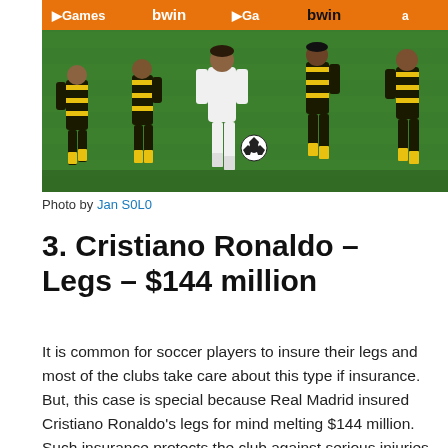[Figure (photo): Soccer match photo showing players in black-and-yellow striped kits competing against a player in white on a green field, with bwin advertising boards in background.]
Photo by Jan S0L0
3. Cristiano Ronaldo – Legs – $144 million
It is common for soccer players to insure their legs and most of the clubs take care about this type if insurance. But, this case is special because Real Madrid insured Cristiano Ronaldo's legs for mind melting $144 million. Such insurance protects the club against serious injuries which could force players to retire earlier and consequently cause financial